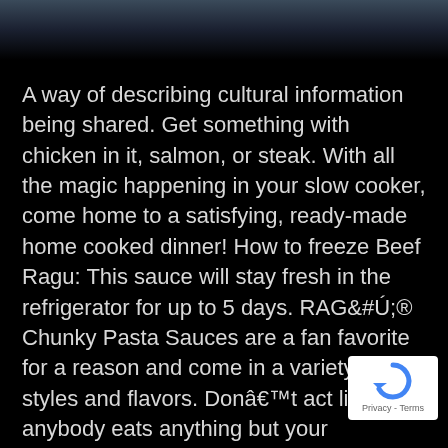[Figure (photo): Dark background image at the top of the page, showing a dark blue/grey gradient fading to black]
A way of describing cultural information being shared. Get something with chicken in it, salmon, or steak. With all the magic happening in your slow cooker, come home to a satisfying, ready-made home cooked dinner! How to freeze Beef Ragu: This sauce will stay fresh in the refrigerator for up to 5 days. RAGÚ® Chunky Pasta Sauces are a fan favorite for a reason and come in a variety of styles and flavors. Donât act like anybody eats anything but your breadsticks. Bongiovi Brand Arrabbiata . Thi not to say during sex-1. It's a free online image
[Figure (logo): Google reCAPTCHA badge with blue circular arrow icon and Privacy - Terms text]